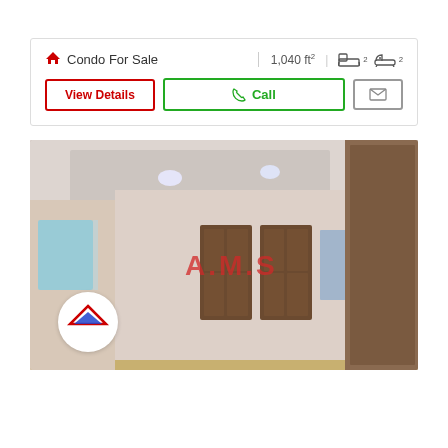Condo For Sale | 1,040 ft² | 2 beds | 2 baths
View Details | Call | [email icon]
[Figure (photo): Interior photo of a condo showing a wide room with wooden floor, white walls, multiple wooden doors, recessed ceiling lights, and a circular AMS real estate logo badge in the lower left corner. Red 'A.M.S' watermark text overlaid on the image.]